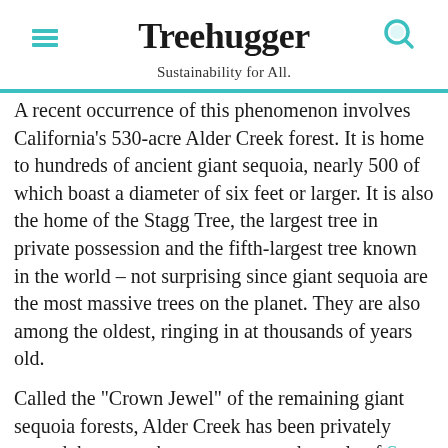Treehugger
Sustainability for All.
A recent occurrence of this phenomenon involves California's 530-acre Alder Creek forest. It is home to hundreds of ancient giant sequoia, nearly 500 of which boast a diameter of six feet or larger. It is also the home of the Stagg Tree, the largest tree in private possession and the fifth-largest tree known in the world – not surprising since giant sequoia are the most massive trees on the planet. They are also among the oldest, ringing in at thousands of years old.
Called the "Crown Jewel" of the remaining giant sequoia forests, Alder Creek has been privately owned, but now, the very very good people of Save the Redwoods League